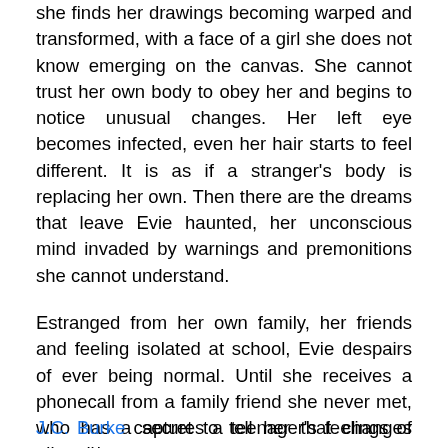she finds her drawings becoming warped and transformed, with a face of a girl she does not know emerging on the canvas. She cannot trust her own body to obey her and begins to notice unusual changes. Her left eye becomes infected, even her hair starts to feel different. It is as if a stranger's body is replacing her own. Then there are the dreams that leave Evie haunted, her unconscious mind invaded by warnings and premonitions she cannot understand.
Estranged from her own family, her friends and feeling isolated at school, Evie despairs of ever being normal. Until she receives a phonecall from a family friend she never met, who has a secret to tell her that changes everything.
J.C. Burke captures a teenager's feelings of alienation